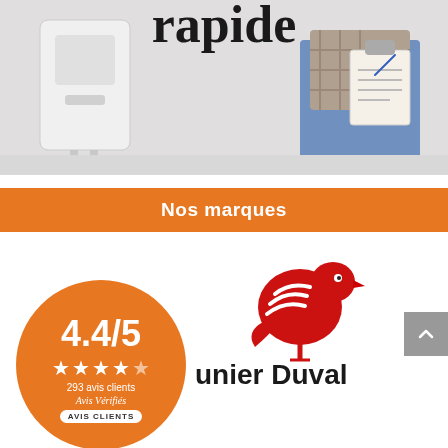[Figure (photo): Technician in plaid shirt holding clipboard inspecting water heater, with text 'rapide' (partially visible) overlaid at top]
Nos marques
[Figure (logo): Chaffoteaux Maunier Duval brand logo with red stylized bird and bold black text 'unier Duval' (Maunier Duval)]
[Figure (infographic): Orange circular rating badge showing 4.4/5, 4 stars, 293 avis clients, Avis Vérifiés, AVIS CLIENTS button]